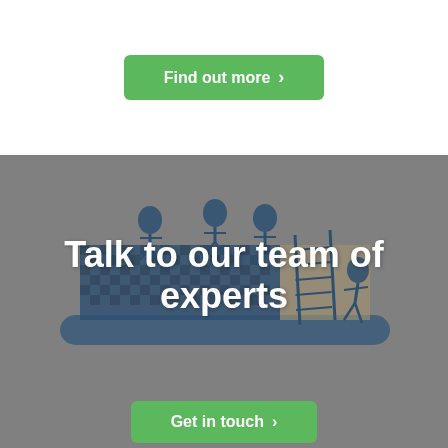[Figure (illustration): Green button with text 'Find out more' and a right-pointing chevron arrow]
[Figure (illustration): Gray background with a line illustration of stick figures standing on a block/platform with a ladder, and a person climbing the ladder. Overlaid with white bold text 'Talk to our team of experts']
[Figure (illustration): Green button with text 'Get in touch' and a right-pointing chevron arrow]